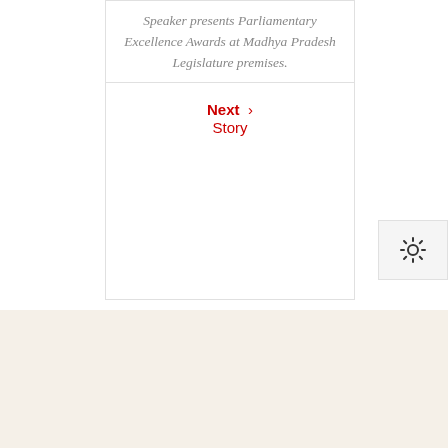Speaker presents Parliamentary Excellence Awards at Madhya Pradesh Legislature premises.
Next Story ›
[Figure (other): Settings/gear icon in a light gray box]
RELATED STORY
[Figure (photo): Photo of people near a colorful booth with Hindi text, outdoor setting with festive decorations]
[Figure (photo): Photo of people standing outdoors, some wearing masks, near trees]